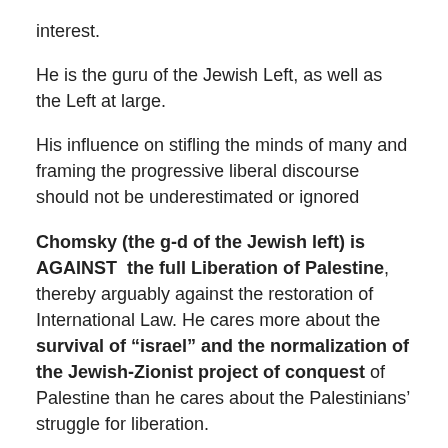interest.
He is the guru of the Jewish Left, as well as the Left at large.
His influence on stifling the minds of many and framing the progressive liberal discourse should not be underestimated or ignored
Chomsky (the g-d of the Jewish left) is AGAINST the full Liberation of Palestine, thereby arguably against the restoration of International Law. He cares more about the survival of “israel” and the normalization of the Jewish-Zionist project of conquest of Palestine than he cares about the Palestinians’ struggle for liberation.
http://www.informationclearinghouse.info/article33030.htm